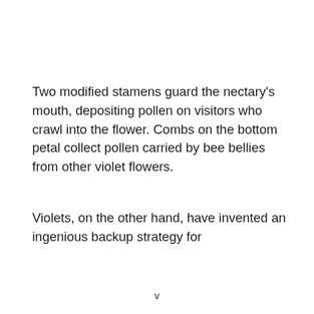Two modified stamens guard the nectary's mouth, depositing pollen on visitors who crawl into the flower. Combs on the bottom petal collect pollen carried by bee bellies from other violet flowers.
Violets, on the other hand, have invented an ingenious backup strategy for